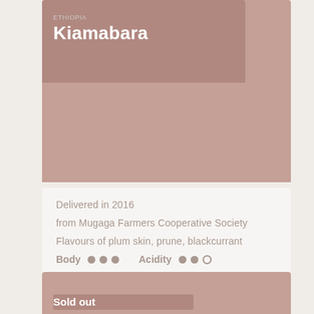Kiamabara
Delivered in 2016
from Mugaga Farmers Cooperative Society
Flavours of plum skin, prune, blackcurrant
Body ●●●   Acidity ●●○
✔ Roasted omni for filter and espresso